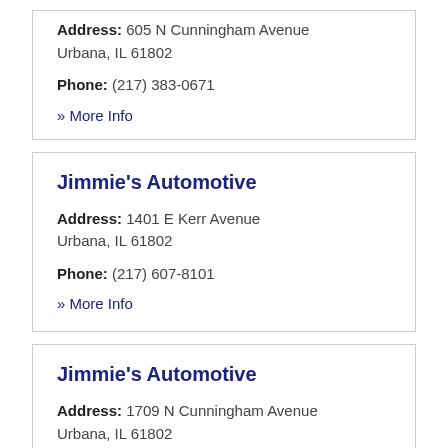Address: 605 N Cunningham Avenue Urbana, IL 61802
Phone: (217) 383-0671
» More Info
Jimmie's Automotive
Address: 1401 E Kerr Avenue Urbana, IL 61802
Phone: (217) 607-8101
» More Info
Jimmie's Automotive
Address: 1709 N Cunningham Avenue Urbana, IL 61802